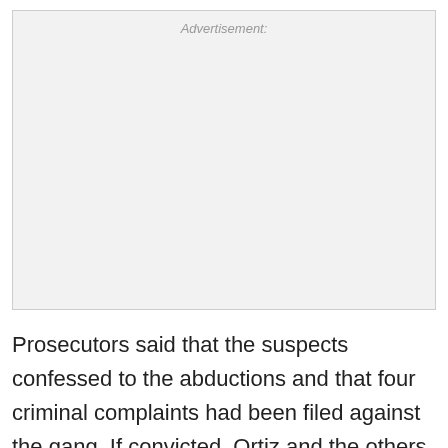[Figure (other): Advertisement placeholder box with label 'Advertisement:' at top center]
Prosecutors said that the suspects confessed to the abductions and that four criminal complaints had been filed against the gang. If convicted, Ortiz and the others